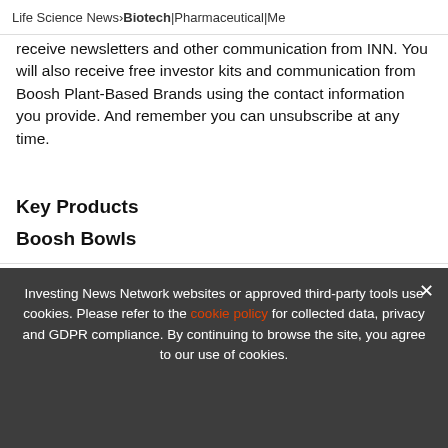Life Science News > Biotech | Pharmaceutical | Me
receive newsletters and other communication from INN. You will also receive free investor kits and communication from Boosh Plant-Based Brands using the contact information you provide. And remember you can unsubscribe at any time.
Key Products
Boosh Bowls
[Figure (screenshot): Advertisement banner: EXCLUSIVE 2022 PHARMA OUTLOOK REPORT. TRENDS. FORECASTS. TOP STOCKS. with orange arrow button and vertical orange bar.]
Bolognese, Mac & Cheese & Peas, Coconut Curry
Investing News Network websites or approved third-party tools use cookies. Please refer to the cookie policy for collected data, privacy and GDPR compliance. By continuing to browse the site, you agree to our use of cookies.